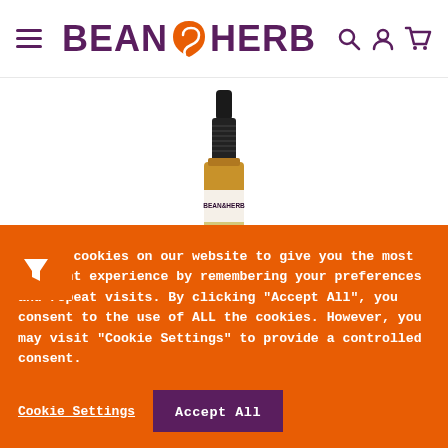BEAN&HERB — navigation header with hamburger menu, logo, and icons (search, account, cart)
[Figure (photo): Small amber dropper bottle with black cap labeled BEAN&HERB, photographed on white background, partially cropped at bottom]
[Figure (other): Orange square button with white funnel/filter icon]
We use cookies on our website to give you the most relevant experience by remembering your preferences and repeat visits. By clicking "Accept All", you consent to the use of ALL the cookies. However, you may visit "Cookie Settings" to provide a controlled consent.
Cookie Settings | Accept All